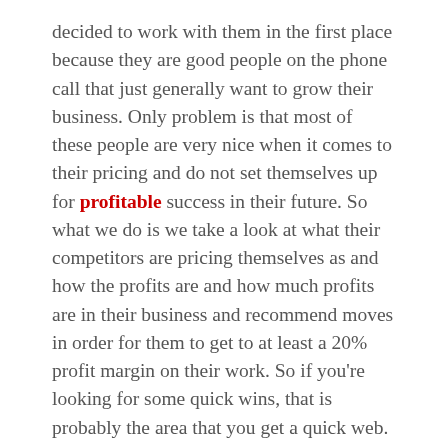decided to work with them in the first place because they are good people on the phone call that just generally want to grow their business. Only problem is that most of these people are very nice when it comes to their pricing and do not set themselves up for profitable success in their future. So what we do is we take a look at what their competitors are pricing themselves as and how the profits are and how much profits are in their business and recommend moves in order for them to get to at least a 20% profit margin on their work. So if you're looking for some quick wins, that is probably the area that you get a quick web.
And then another area that we always of contractors with is setting up a proactive system to bringing on guys to their business. Many businesses out there are running in operating with the assumption that their people will stay with them for a long time when